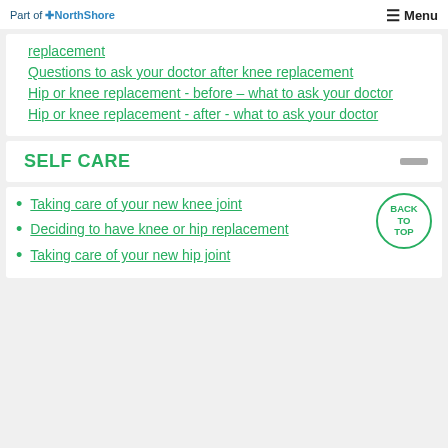Part of NorthShore | Menu
replacement
Questions to ask your doctor after knee replacement
Hip or knee replacement - before - what to ask your doctor
Hip or knee replacement - after - what to ask your doctor
SELF CARE
Taking care of your new knee joint
Deciding to have knee or hip replacement
Taking care of your new hip joint